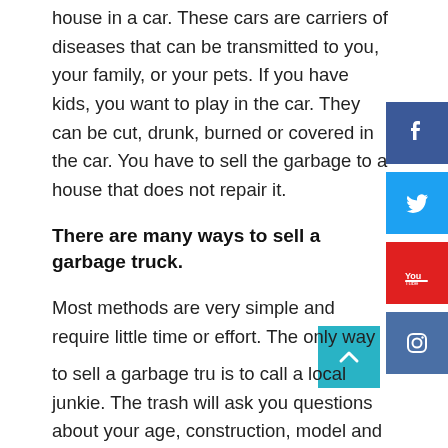house in a car. These cars are carriers of diseases that can be transmitted to you, your family, or your pets. If you have kids, you want to play in the car. They can be cut, drunk, burned or covered in the car. You have to sell the garbage to a house that does not repair it.
There are many ways to sell a garbage truck.
Most methods are very simple and require little time or effort. The only way to sell a garbage truck is to call a local junkie. The trash will ask you questions about your age, construction, model and general physical condition. They make a phone call. If you accept the offer, it will allow you to buy the car. All they have to do is sign. Unknyard may sell your car at a lower price. But they accept